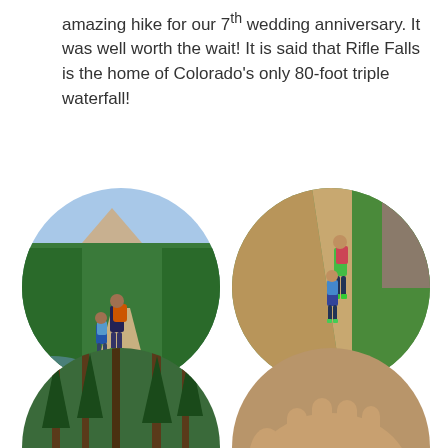amazing hike for our 7th wedding anniversary. It was well worth the wait! It is said that Rifle Falls is the home of Colorado's only 80-foot triple waterfall!
[Figure (photo): Four circular cropped photos arranged in a 2x2 grid. Top-left: two hikers (adult and child) walking on a trail through green trees with mountains in background. Top-right: two hikers on a dirt trail with green vegetation on both sides. Bottom-left: a rocky stream with trees and forest. Bottom-right: a close-up of a hand holding something small, with sunglasses visible.]